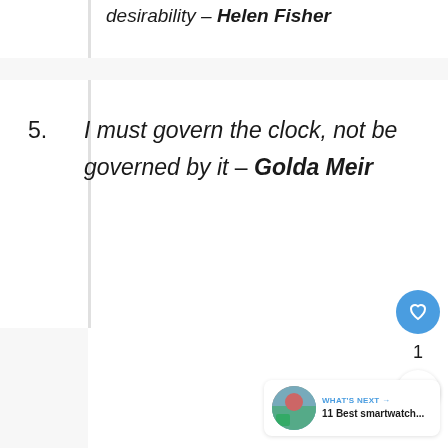desirability – Helen Fisher
5. I must govern the clock, not be governed by it – Golda Meir